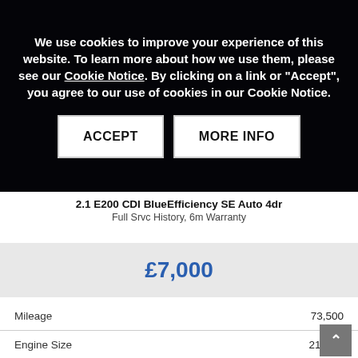We use cookies to improve your experience of this website. To learn more about how we use them, please see our Cookie Notice. By clicking on a link or "Accept", you agree to our use of cookies in our Cookie Notice.
ACCEPT | MORE INFO
2.1 E200 CDI BlueEfficiency SE Auto 4dr
Full Srvc History, 6m Warranty
£7,000
| Attribute | Value |
| --- | --- |
| Mileage | 73,500 |
| Engine Size | 2143cc |
| Transmission | Automatic |
| Fuel Type | Diesel |
| No. of doors | 4 |
| Colour | Black |